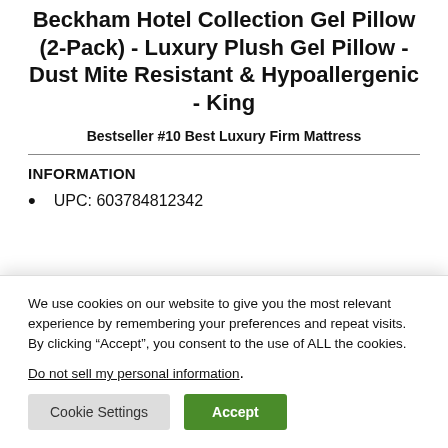Beckham Hotel Collection Gel Pillow (2-Pack) - Luxury Plush Gel Pillow - Dust Mite Resistant & Hypoallergenic - King
Bestseller #10 Best Luxury Firm Mattress
INFORMATION
UPC: 603784812342
We use cookies on our website to give you the most relevant experience by remembering your preferences and repeat visits. By clicking “Accept”, you consent to the use of ALL the cookies.
Do not sell my personal information.
Cookie Settings
Accept